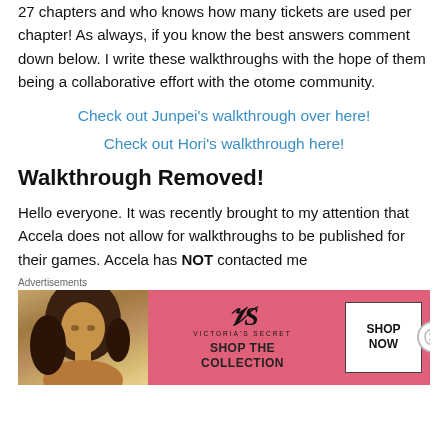27 chapters and who knows how many tickets are used per chapter! As always, if you know the best answers comment down below. I write these walkthroughs with the hope of them being a collaborative effort with the otome community.
Check out Junpei's walkthrough over here!
Check out Hori's walkthrough here!
Walkthrough Removed!
Hello everyone. It was recently brought to my attention that Accela does not allow for walkthroughs to be published for their games. Accela has NOT contacted me
[Figure (photo): Victoria's Secret advertisement banner with a woman model, VS logo, 'SHOP THE COLLECTION' text, and 'SHOP NOW' button on pink background]